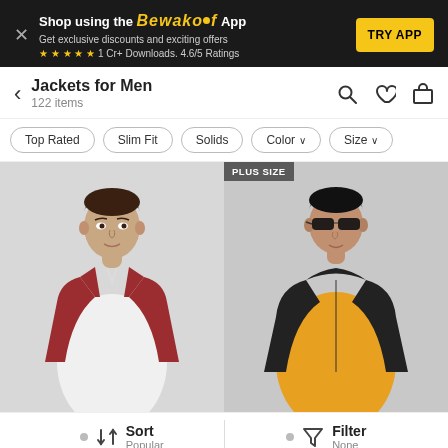[Figure (screenshot): Bewakoof app promotional banner with dark background, brand name in yellow, 'TRY APP' yellow button, star rating and download stats]
Jackets for Men
122 items
Top Rated
Slim Fit
Solids
Color
Size
[Figure (photo): Man wearing a red sleeveless jacket/vest over white shirt against grey background]
[Figure (photo): Man wearing black quilted sleeveless jacket over yellow t-shirt with sunglasses against grey background, with PLUS SIZE badge]
Sort
Popular
Filter
None